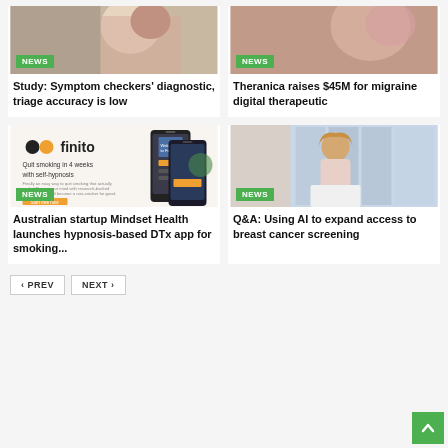[Figure (photo): News card image with NEWS badge - medical photo top left]
Study: Symptom checkers' diagnostic, triage accuracy is low
[Figure (photo): News card image with NEWS badge - Theranica migraine photo top right]
Theranica raises $45M for migraine digital therapeutic
[Figure (photo): Finito app advertisement - Quit smoking in 4 weeks with self-hypnosis, with NEWS badge]
Australian startup Mindset Health launches hypnosis-based DTx app for smoking...
[Figure (photo): Woman sitting with back to camera looking out window, NEWS badge]
Q&A: Using AI to expand access to breast cancer screening